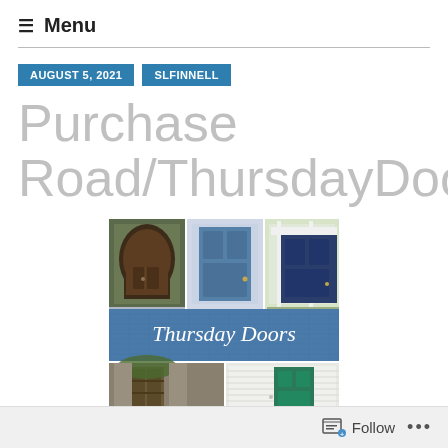≡ Menu
AUGUST 5, 2021   SLFINNELL
Purchase Road/ThursdayDoors
[Figure (photo): Thursday Doors blog logo image showing a collage of various doors including rustic wooden doors, blue doors, and a green door, with a blue banner in the middle reading 'Thursday Doors']
Follow ...